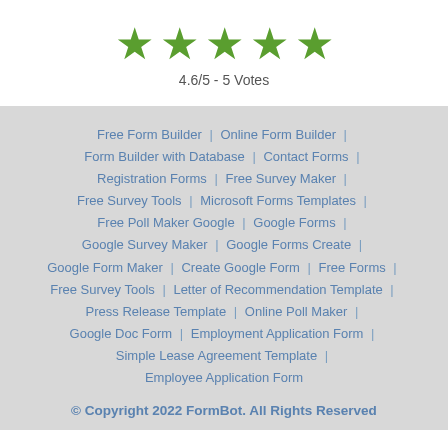[Figure (infographic): Five green star rating icons displayed in a row]
4.6/5 - 5 Votes
Free Form Builder | Online Form Builder | Form Builder with Database | Contact Forms | Registration Forms | Free Survey Maker | Free Survey Tools | Microsoft Forms Templates | Free Poll Maker Google | Google Forms | Google Survey Maker | Google Forms Create | Google Form Maker | Create Google Form | Free Forms | Free Survey Tools | Letter of Recommendation Template | Press Release Template | Online Poll Maker | Google Doc Form | Employment Application Form | Simple Lease Agreement Template | Employee Application Form
© Copyright 2022 FormBot. All Rights Reserved